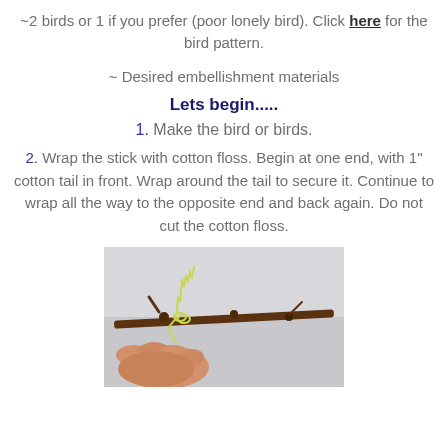~2 birds or 1 if you prefer (poor lonely bird). Click here for the bird pattern.
~ Desired embellishment materials
Lets begin.....
1. Make the bird or birds.
2. Wrap the stick with cotton floss. Begin at one end, with 1" cotton tail in front. Wrap around the tail to secure it. Continue to wrap all the way to the opposite end and back again. Do not cut the cotton floss.
[Figure (photo): Photo of a hand wrapping yellow-green cotton floss around a brown stick/twig against a light gray background.]